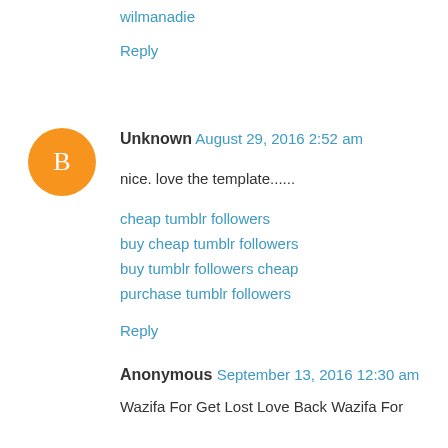wilmanadie
Reply
Unknown  August 29, 2016 2:52 am
nice. love the template......
cheap tumblr followers
buy cheap tumblr followers
buy tumblr followers cheap
purchase tumblr followers
Reply
Anonymous  September 13, 2016 12:30 am
Wazifa For Get Lost Love Back Wazifa For
Get Lost Love Back Quickly an additional
various more young's protected lost their